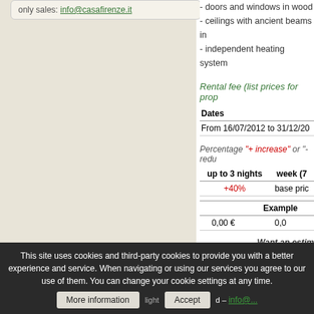only sales: info@casafirenze.it
- doors and windows in wood
- ceilings with ancient beams in
- independent heating system
Rental fee (list prices for prop
| Dates |
| --- |
| From 16/07/2012 to 31/12/20 |
Percentage "+ increase" or "- redu
| up to 3 nights | week (7 |
| --- | --- |
| +40% | base pric |
|  | Example |
| --- | --- |
| 0,00 € | 0,0 |
Want an estim
This site uses cookies and third-party cookies to provide you with a better experience and service. When navigating or using our services you agree to our use of them. You can change your cookie settings at any time.   light   – info@...